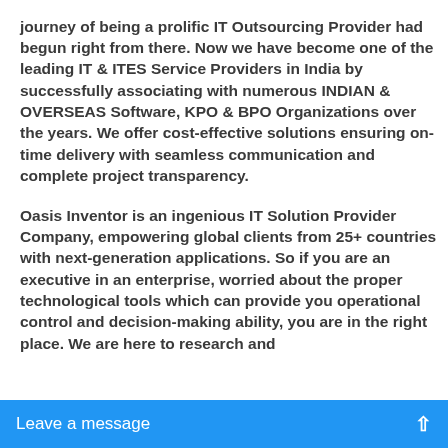journey of being a prolific IT Outsourcing Provider had begun right from there. Now we have become one of the leading IT & ITES Service Providers in India by successfully associating with numerous INDIAN & OVERSEAS Software, KPO & BPO Organizations over the years. We offer cost-effective solutions ensuring on-time delivery with seamless communication and complete project transparency.
Oasis Inventor is an ingenious IT Solution Provider Company, empowering global clients from 25+ countries with next-generation applications. So if you are an executive in an enterprise, worried about the proper technological tools which can provide you operational control and decision-making ability, you are in the right place. We are here to research and
Leave a message